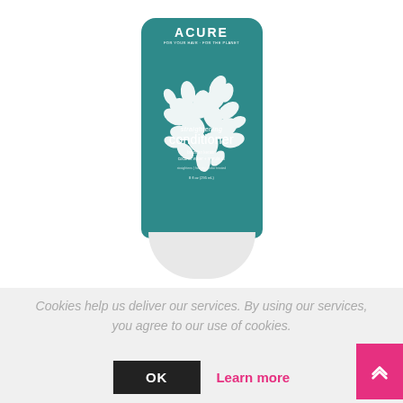[Figure (photo): ACURE straightening conditioner product tube, teal/dark cyan color with white floral pattern and white text, standing upright with a white cap at the bottom]
Cookies help us deliver our services. By using our services, you agree to our use of cookies.
OK   Learn more